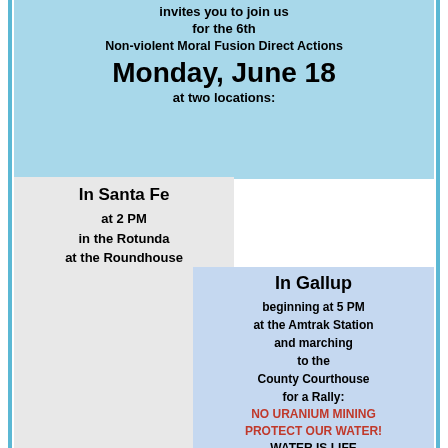in New Mexico invites you to join us for the 6th Non-violent Moral Fusion Direct Actions Monday, June 18 at two locations:
In Santa Fe
at 2 PM
in the Rotunda
at the Roundhouse
"Challenging Our Nation's Distorted Moral Narrative"
In Gallup
beginning at 5 PM
at the Amtrak Station
and marching
to the
County Courthouse
for a Rally:
NO URANIUM MINING
PROTECT OUR WATER!
WATER IS LIFE
PROTECT OUR LIVES!